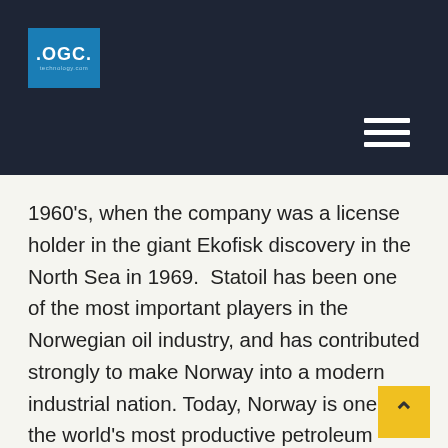[Figure (logo): OGC logo — white text '.OGC.' on a blue square background with small subtext below]
1960's, when the company was a license holder in the giant Ekofisk discovery in the North Sea in 1969.  Statoil has been one of the most important players in the Norwegian oil industry, and has contributed strongly to make Norway into a modern industrial nation. Today, Norway is one of the world's most productive petroleum provinces and a test lab for technology development.